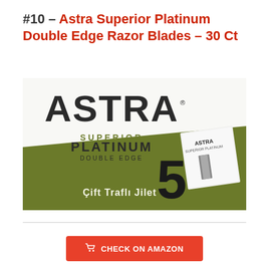#10 – Astra Superior Platinum Double Edge Razor Blades – 30 Ct
[Figure (photo): Product photo of Astra Superior Platinum Double Edge razor blades box. The box is olive green and white, showing the large ASTRA brand name, with 'SUPERIOR PLATINUM DOUBLE EDGE' text, a large number 5 indicating 5 blades per pack, an image of individual blade wrapper, and text 'Çift Traflı Jilet' at the bottom.]
CHECK ON AMAZON